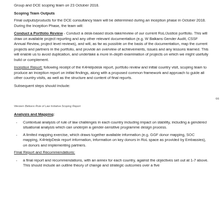Group and DCE scoping team on 23 October 2018.
Scoping Team Outputs
Final outputs/products for the DCE consultancy team will be determined during an inception phase in October 2018.  During the Inception Phase, the team will:
Conduct a Portfolio Review - Conduct a desk-based stock-take/review of our current RoL/Justice portfolio. This will draw on available project reporting and any other relevant documentation (e.g. W Balkans Gender Audit, CSSF Annual Review, project level reviews), and will, as far as possible on the basis of the documentation, map the current projects and partners in the portfolio, and provide an overview of achievements, issues and any lessons learned.  This will enable us to avoid duplication, and undertake a more in-depth examination of projects on which we might usefully build or complement.
Inception Report:  following receipt of the K4Helpdesk report, portfolio review and initial country visit, scoping team to produce an inception report on initial findings, along with a proposed common framework and approach to guide all other country visits, as well as the structure and content of final reports.
Subsequent steps should include:
Western Balkans Rule of Law Initiative Scoping Report
Analysis and Mapping:
Contextual analysis of rule of law challenges in each country including impact on stability, including a gendered situational analysis which can underpin a gender-sensitive programme design process.
A limited mapping exercise, which draws together available information (e.g. GGF donor mapping, SOC mapping, K4HelpDesk report information, information on key donors in RoL space as provided by Embassies), on donors and implementing partners.
Final Report and Recommendations:
a final report and recommendations, with an annex for each country, against the objectives set out at 1-7 above.  This should include an outline theory of change and strategic outcomes over a five